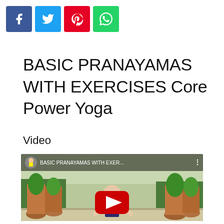[Figure (other): Social share buttons: Facebook (blue), Twitter (cyan), Pinterest (red), WhatsApp (green)]
BASIC PRANAYAMAS WITH EXERCISES Core Power Yoga
Video
[Figure (screenshot): YouTube video thumbnail showing 'BASIC PRANAYAMAS WITH EXER...' with a woman doing yoga on a rooftop surrounded by potted plants, with a red YouTube play button overlay]